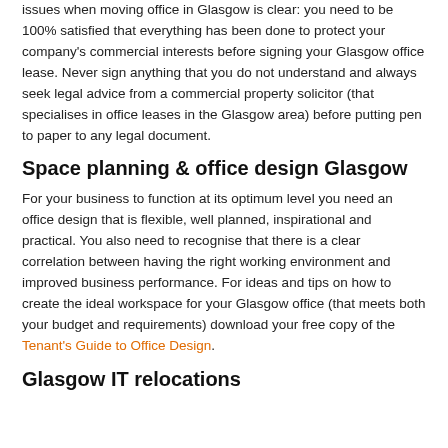issues when moving office in Glasgow is clear: you need to be 100% satisfied that everything has been done to protect your company's commercial interests before signing your Glasgow office lease. Never sign anything that you do not understand and always seek legal advice from a commercial property solicitor (that specialises in office leases in the Glasgow area) before putting pen to paper to any legal document.
Space planning & office design Glasgow
For your business to function at its optimum level you need an office design that is flexible, well planned, inspirational and practical. You also need to recognise that there is a clear correlation between having the right working environment and improved business performance. For ideas and tips on how to create the ideal workspace for your Glasgow office (that meets both your budget and requirements) download your free copy of the Tenant's Guide to Office Design.
Glasgow IT relocations